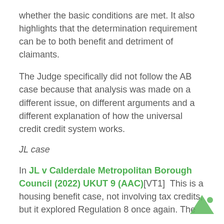whether the basic conditions are met. It also highlights that the determination requirement can be to both benefit and detriment of claimants.
The Judge specifically did not follow the AB case because that analysis was made on a different issue, on different arguments and a different explanation of how the universal credit system works.
JL case
In JL v Calderdale Metropolitan Borough Council (2022) UKUT 9 (AAC)[VT1]  This is a housing benefit case, not involving tax credits, but it explored Regulation 8 once again. The